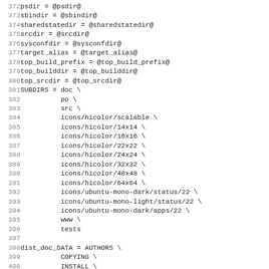Code listing lines 372-403 showing Makefile variable assignments and SUBDIRS/dist_doc_DATA definitions